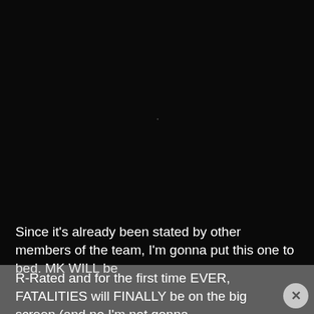[Figure (screenshot): Nearly black/dark screenshot area with a faint tiny dot near center]
Since it's already been stated by other members of the team, I'm gonna put this one to bed. MK WILL be R-Rated and for the first time EVER, FATALITIES will FINALLY be on the big screen (and no I'm not gonna